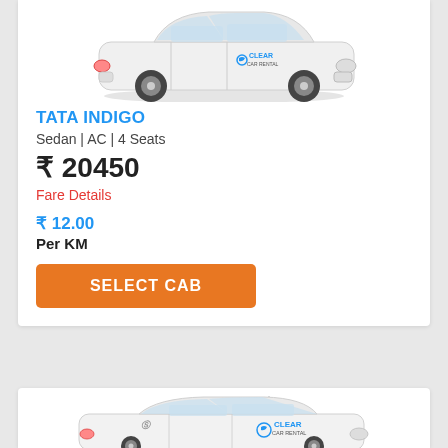[Figure (photo): White Tata Indigo sedan car with Clear Car Rental branding, top portion visible]
TATA INDIGO
Sedan | AC | 4 Seats
₹ 20450
Fare Details
₹ 12.00
Per KM
SELECT CAB
[Figure (photo): White Maruti Suzuki Swift hatchback with Clear Car Rental branding, lower portion of page]